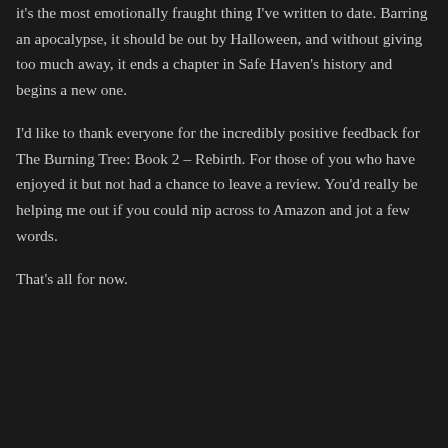it's the most emotionally fraught thing I've written to date. Barring an apocalypse, it should be out by Halloween, and without giving too much away, it ends a chapter in Safe Haven's history and begins a new one.
I'd like to thank everyone for the incredibly positive feedback for The Burning Tree: Book 2 – Rebirth. For those of you who have enjoyed it but not had a chance to leave a review. You'd really be helping me out if you could nip across to Amazon and jot a few words.
That's all for now.